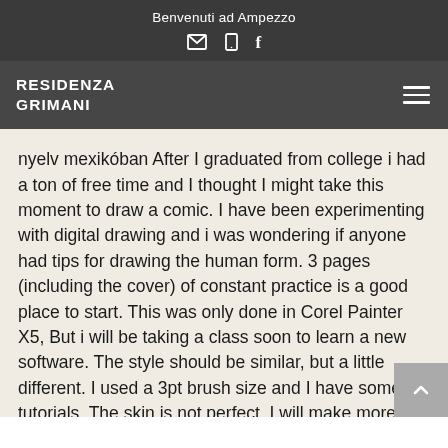Benvenuti ad Ampezzo
RESIDENZA GRIMANI
nyelv mexikóban After I graduated from college i had a ton of free time and I thought I might take this moment to draw a comic. I have been experimenting with digital drawing and i was wondering if anyone had tips for drawing the human form. 3 pages (including the cover) of constant practice is a good place to start. This was only done in Corel Painter X5, But i will be taking a class soon to learn a new software. The style should be similar, but a little different. I used a 3pt brush size and I have some tutorials. The skin is not perfect. I will make more, if you enjoyed it, leave your comments, favorites and i will see what i can